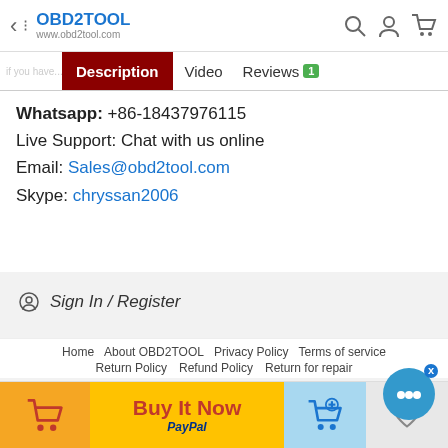OBD2TOOL www.obd2tool.com
Description | Video | Reviews 1
Whatsapp: +86-18437976115
Live Support: Chat with us online
Email: Sales@obd2tool.com
Skype: chryssan2006
Sign In / Register
Customer Service
Help
Currencies  US Dollar
Home  About OBD2TOOL  Privacy Policy  Terms of service  Return Policy  Refund Policy  Return for repair
Buy It Now  PayPal